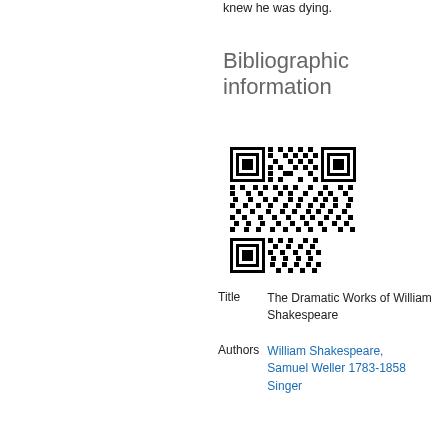knew he was dying.
Bibliographic information
[Figure (other): QR code for bibliographic information]
| Title | The Dramatic Works of William Shakespeare |
| Authors | William Shakespeare, Samuel Weller 1783-1858 Singer |